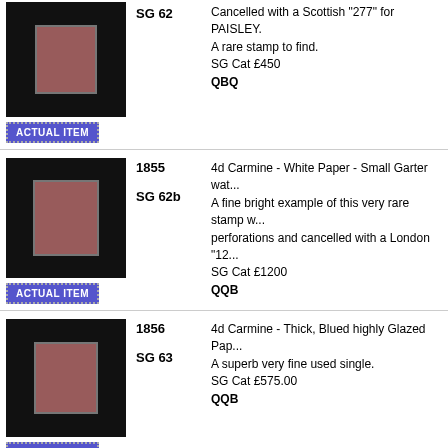[Figure (photo): Stamp photo on dark background, carmine stamp]
SG 62
Cancelled with a Scottish "277" for PAISLEY. A rare stamp to find.
SG Cat £450
QBQ
ACTUAL ITEM
[Figure (photo): Stamp photo on dark background, 4d carmine stamp]
1855
SG 62b
4d Carmine - White Paper - Small Garter watermark. A fine bright example of this very rare stamp with full perforations and cancelled with a London "12...
SG Cat £1200
QQB
ACTUAL ITEM
[Figure (photo): Stamp photo on dark background, 4d carmine stamp]
1856
SG 63
4d Carmine - Thick, Blued highly Glazed Paper. A superb very fine used single.
SG Cat £575.00
QQB
ACTUAL ITEM
[Figure (photo): Stamp photo on dark background, 4d pale carmine stamp]
1856
SG 64Wi
4d Pale Carmine - Medium Garter - Ordinary Paper. A lightly used stamp with full perforations and showing WATERMARK INVERTED.
A scarce variety. SG Cat £1100